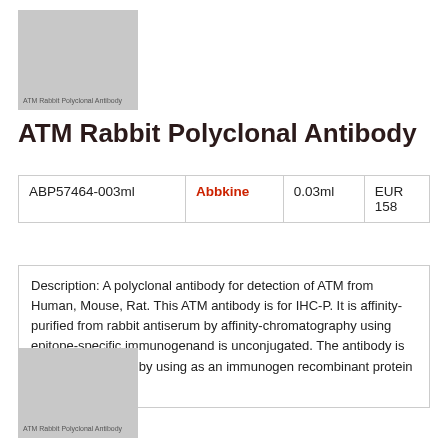[Figure (photo): Thumbnail image placeholder for ATM Rabbit Polyclonal Antibody product with label text]
ATM Rabbit Polyclonal Antibody
|  |  |  |  |
| --- | --- | --- | --- |
| ABP57464-003ml | Abbkine | 0.03ml | EUR 158 |
Description: A polyclonal antibody for detection of ATM from Human, Mouse, Rat. This ATM antibody is for IHC-P. It is affinity-purified from rabbit antiserum by affinity-chromatography using epitope-specific immunogenand is unconjugated. The antibody is produced in rabbit by using as an immunogen recombinant protein of ATM of ATM
[Figure (photo): Second thumbnail image placeholder for ATM Rabbit Polyclonal Antibody product with label text]